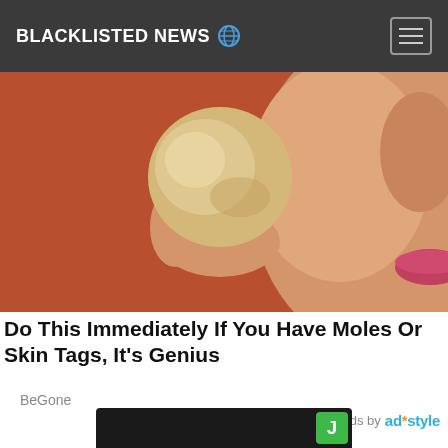BLACKLISTED NEWS
[Figure (photo): Close-up photo of a woman holding a round beige object (soap or stone) next to her cheek, with red nail polish visible on her fingers, warm brown background.]
Do This Immediately If You Have Moles Or Skin Tags, It's Genius
BeGone
Ads by ad*style